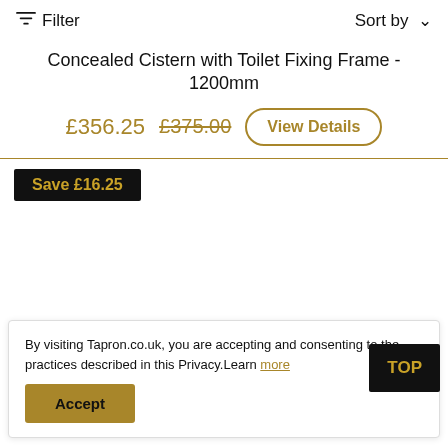Filter   Sort by
Concealed Cistern with Toilet Fixing Frame - 1200mm
£356.25  £375.00  View Details
Save £16.25
By visiting Tapron.co.uk, you are accepting and consenting to practices described in this Privacy.Learn more
Accept
TOP